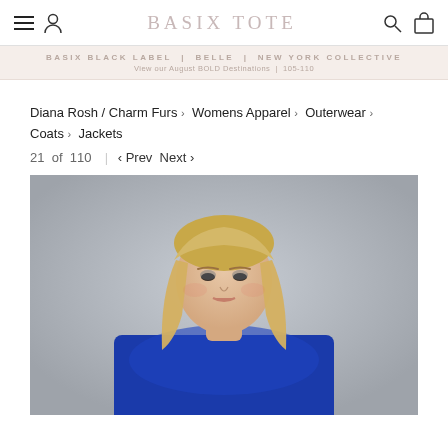BASIX TOTE — navigation header with hamburger menu, user icon, logo, search icon, cart icon
BASIX BLACK LABEL | NEW YORK COLLECTIVE
View our August BOLD Destinations | 105-110
Diana Rosh / Charm Furs › Womens Apparel › Outerwear › Coats › Jackets
21 of 110 | ‹ Prev  Next ›
[Figure (photo): A blonde female model wearing a bright blue fur jacket, photographed against a neutral grey background. The image is cropped to show from the shoulders up with the full jacket visible at bottom.]